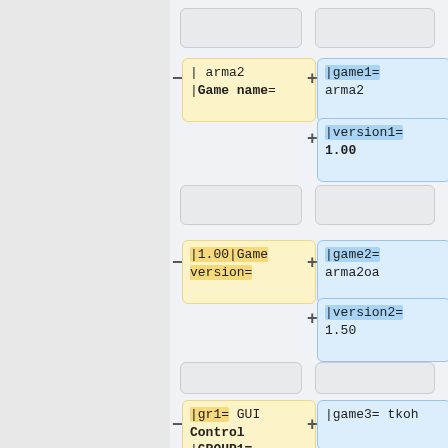[Figure (flowchart): Diff/merge view showing yellow boxes (minus/old) and blue boxes (plus/new) with template parameter changes. Pairs: arma2/|Game name= -> |game1= arma2, |version1= 1.00; |1.00|Game version= -> |game2= arma2oa, |version2= 1.50; |gr1= GUI Control |GROUP1= -> |game3= tkoh, |version3= 1.00]